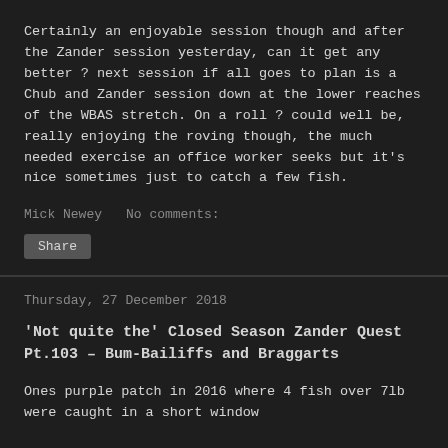Certainly an enjoyable session though and after the Zander session yesterday, can it get any better ? next session if all goes to plan is a Chub and Zander session down at the lower reaches of the WBAS stretch. On a roll ? could well be, really enjoying the roving though, the much needed exercise an office worker seeks but it's nice sometimes just to catch a few fish.
Mick Newey   No comments:
Share
Thursday, 27 December 2018
'Not quite the' Closed Season Zander Quest Pt.103 – Bum-Bailiffs and Braggarts
Ones purple patch in 2016 where 4 fish over 7lb were caught in a short window